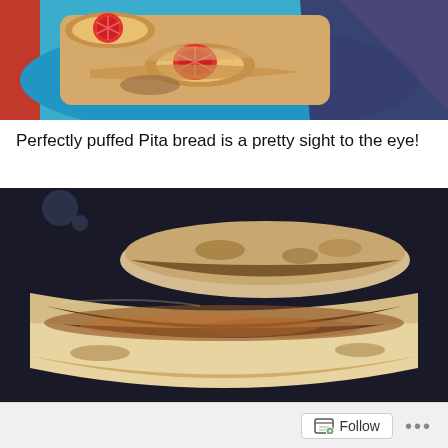[Figure (photo): Rolled pita wraps with tomato slices visible, served on a blue plate with foil packaging visible on the right side.]
Perfectly puffed Pita bread is a pretty sight to the eye!
[Figure (photo): Close-up of puffed pita bread split open showing the hollow pocket interior, stacked on a dark surface.]
Follow ...